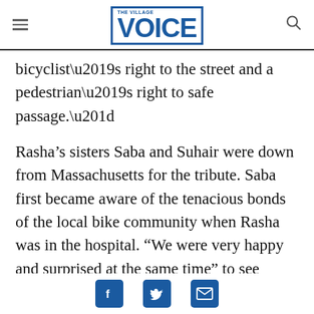the village VOICE
bicyclist’s right to the street and a pedestrian’s right to safe passage.”
Rasha’s sisters Saba and Suhair were down from Massachusetts for the tribute. Saba first became aware of the tenacious bonds of the local bike community when Rasha was in the hospital. “We were very happy and surprised at the same time” to see many members of Time’s Up and Transportation Alternatives — bike activist groups to which Rasha belonged — turn up at New York Presbyterian Hospital in Rasha’s final days to sho…
Facebook Twitter Email